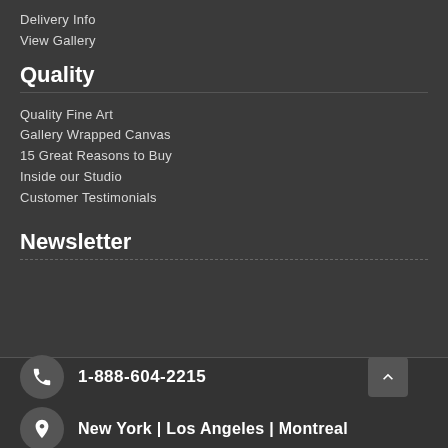Delivery Info
View Gallery
Quality
Quality Fine Art
Gallery Wrapped Canvas
15 Great Reasons to Buy
Inside our Studio
Customer Testimonials
Newsletter
1-888-604-2215
New York | Los Angeles | Montreal